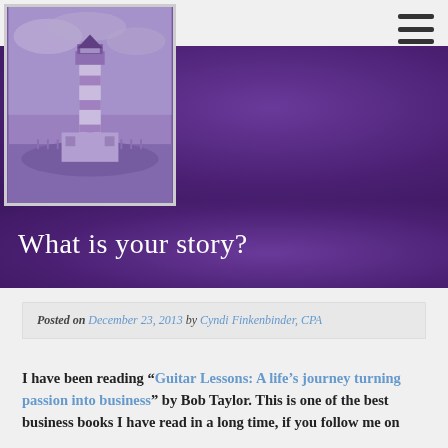[Figure (illustration): Lighthouse photograph with purple/grayscale overlay, positioned top-left of page]
What is your story?
Posted on December 23, 2013 by Cyndi Finkenbinder, CPA
I have been reading “Guitar Lessons: A life’s journey turning passion into business” by Bob Taylor. This is one of the best business books I have read in a long time, if you follow me on